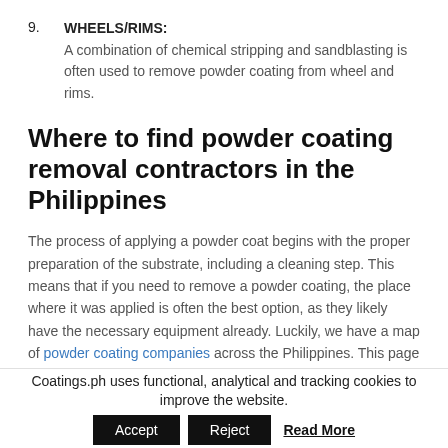9. WHEELS/RIMS: A combination of chemical stripping and sandblasting is often used to remove powder coating from wheel and rims.
Where to find powder coating removal contractors in the Philippines
The process of applying a powder coat begins with the proper preparation of the substrate, including a cleaning step. This means that if you need to remove a powder coating, the place where it was applied is often the best option, as they likely have the necessary equipment already. Luckily, we have a map of powder coating companies across the Philippines. This page is also helpful if you are removing powder coating in order to recoat an item or part, as the powder coating prices overview will guide you as to your best options.
Coatings.ph uses functional, analytical and tracking cookies to improve the website. Accept Reject Read More